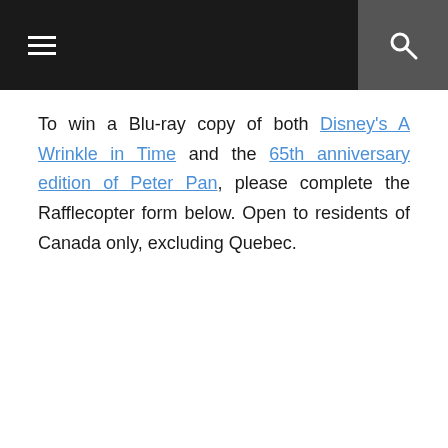[navigation bar with hamburger menu and search icon]
To win a Blu-ray copy of both Disney's A Wrinkle in Time and the 65th anniversary edition of Peter Pan, please complete the Rafflecopter form below. Open to residents of Canada only, excluding Quebec.